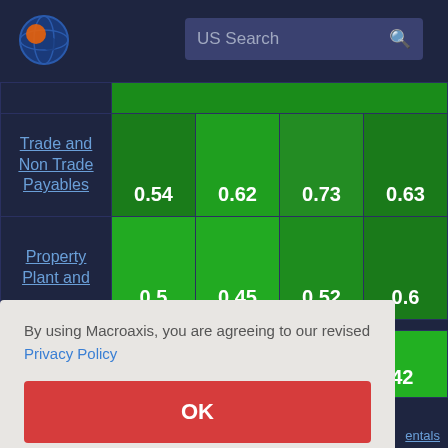[Figure (logo): Macroaxis globe logo with orange and blue colors]
US Search
|  | Col1 | Col2 | Col3 | Col4 |
| --- | --- | --- | --- | --- |
| Trade and Non Trade Payables | 0.54 | 0.62 | 0.73 | 0.63 |
| Property Plant and | 0.5 | 0.45 | 0.52 | 0.6 |
By using Macroaxis, you are agreeing to our revised Privacy Policy
OK
entals